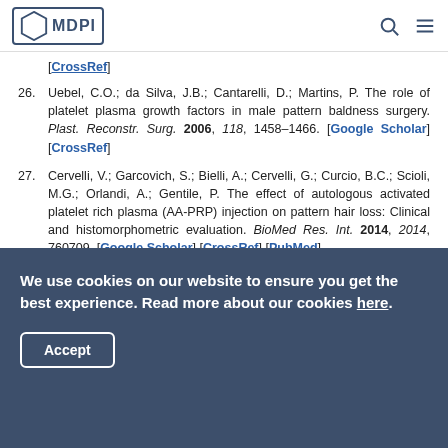MDPI
[CrossRef]
26. Uebel, C.O.; da Silva, J.B.; Cantarelli, D.; Martins, P. The role of platelet plasma growth factors in male pattern baldness surgery. Plast. Reconstr. Surg. 2006, 118, 1458–1466. [Google Scholar] [CrossRef]
27. Cervelli, V.; Garcovich, S.; Bielli, A.; Cervelli, G.; Curcio, B.C.; Scioli, M.G.; Orlandi, A.; Gentile, P. The effect of autologous activated platelet rich plasma (AA-PRP) injection on pattern hair loss: Clinical and histomorphometric evaluation. BioMed Res. Int. 2014, 2014, 760709. [Google Scholar] [CrossRef] [PubMed]
We use cookies on our website to ensure you get the best experience. Read more about our cookies here.
Accept